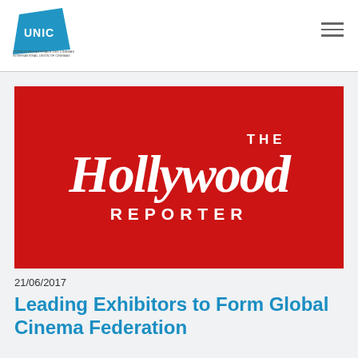UNIC logo and navigation
[Figure (logo): The Hollywood Reporter logo — white italic serif text on red background]
21/06/2017
Leading Exhibitors to Form Global Cinema Federation